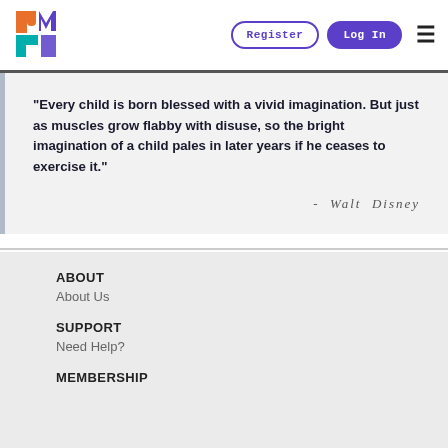Register | Log In | [menu]
"Every child is born blessed with a vivid imagination. But just as muscles grow flabby with disuse, so the bright imagination of a child pales in later years if he ceases to exercise it."
- Walt Disney
ABOUT
About Us
SUPPORT
Need Help?
MEMBERSHIP